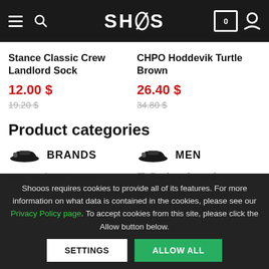SHOOOS
Stance Classic Crew Landlord Sock
12.00 $
19.20 $
CHPO Hoddevik Turtle Brown
26.40 $
34.80 $
Product categories
BRANDS
MEN
Shooos requires cookies to provide all of its features. For more information on what data is contained in the cookies, please see our Privacy Policy page. To accept cookies from this site, please click the Allow button below.